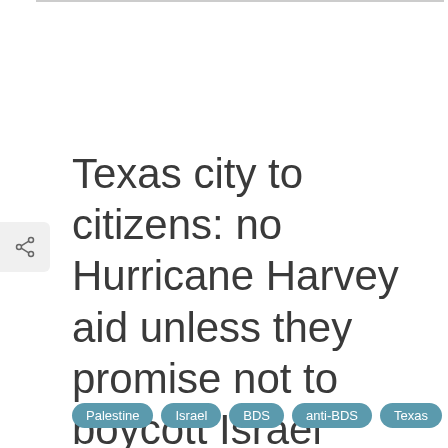Texas city to citizens: no Hurricane Harvey aid unless they promise not to boycott Israel
Palestine
Israel
BDS
anti-BDS
Texas